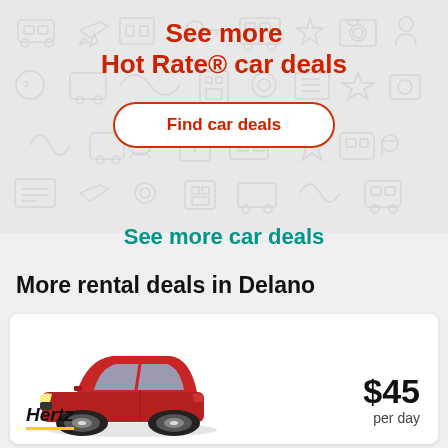See more
Hot Rate® car deals
Find car deals
See more car deals
More rental deals in Delano
[Figure (photo): Red Kia Rio sedan car photo]
Economy
Kia Rio or similar
4 people
Hertz
$45
per day